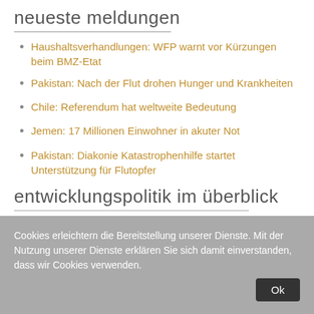neueste meldungen
Haushaltsverhandlungen: WFP warnt vor Kürzungen beim BMZ-Etat
Pakistan: Nach der Flut drohen Hunger und Krankheiten
Chile: Referendum hat weltweite Bedeutung
Jemen: 17 Millionen Einwohner in akuter Not
Pakistan: Diakonie Katastrophenhilfe startet Unterstützung für Flutopfer
entwicklungspolitik im überblick
Cookies erleichtern die Bereitstellung unserer Dienste. Mit der Nutzung unserer Dienste erklären Sie sich damit einverstanden, dass wir Cookies verwenden.